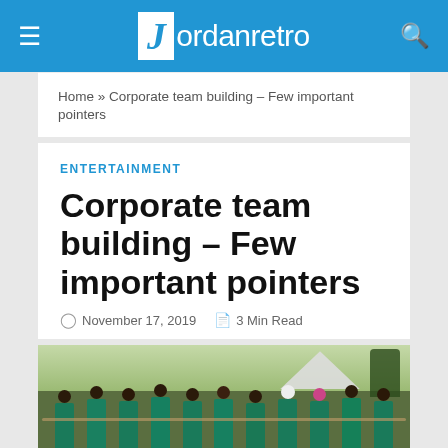Jordanretro
Home » Corporate team building – Few important pointers
ENTERTAINMENT
Corporate team building – Few important pointers
November 17, 2019   3 Min Read
[Figure (photo): Group of people in green shirts holding a rope during a corporate team building activity outdoors]